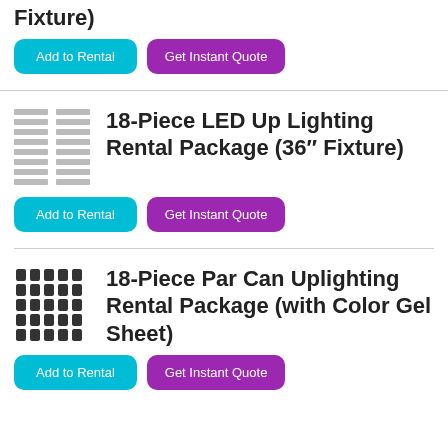Fixture)
Add to Rental
Get Instant Quote
18-Piece LED Up Lighting Rental Package (36″ Fixture)
Add to Rental
Get Instant Quote
18-Piece Par Can Uplighting Rental Package (with Color Gel Sheet)
Add to Rental
Get Instant Quote